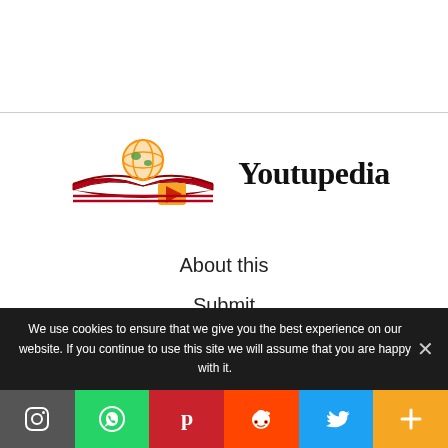[Figure (logo): Youtupedia logo with open book, globe, and play button icon, alongside the text Youtupedia in bold serif font]
About this
Submit
Privacy Policy
Terms of Use
We use cookies to ensure that we give you the best experience on our website. If you continue to use this site we will assume that you are happy with it.
[Figure (infographic): Social media sharing bar with icons for Instagram, WhatsApp, Pinterest, Reddit, Twitter, and a plus button]